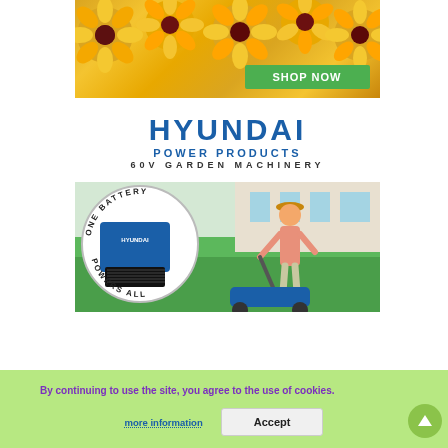[Figure (photo): Yellow flowers (rudbeckia/black-eyed Susans) advertisement with a green 'SHOP NOW' button in the lower right of the image]
[Figure (logo): Hyundai Power Products logo with text 'HYUNDAI', 'POWER PRODUCTS', and '60V GARDEN MACHINERY']
[Figure (photo): Hyundai Power Products 60V Garden Machinery advertisement showing a battery pack with 'ONE BATTERY POWERS ALL' text around it and a woman using a blue lawn mower on green grass]
By continuing to use the site, you agree to the use of cookies.
more information
Accept